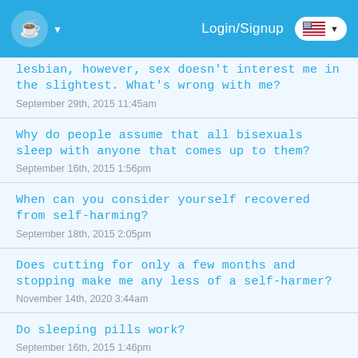Login/Signup
lesbian, however, sex doesn't interest me in the slightest. What's wrong with me?
September 29th, 2015 11:45am
Why do people assume that all bisexuals sleep with anyone that comes up to them?
September 16th, 2015 1:56pm
When can you consider yourself recovered from self-harming?
September 18th, 2015 2:05pm
Does cutting for only a few months and stopping make me any less of a self-harmer?
November 14th, 2020 3:44am
Do sleeping pills work?
September 16th, 2015 1:46pm